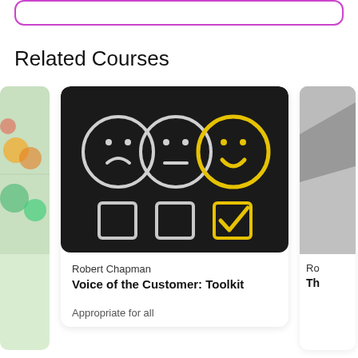[Figure (other): Top partial purple-bordered rounded rectangle box (cropped at top)]
Related Courses
[Figure (photo): Left partial course card thumbnail showing colorful food/produce imagery]
[Figure (photo): Course thumbnail on black chalkboard background showing three emoji faces (sad, neutral, happy) with chalk drawings; happy face and checkbox are highlighted in yellow. The happy/satisfied face has a yellow checkbox checked below it.]
Robert Chapman
Voice of the Customer: Toolkit
Appropriate for all
[Figure (photo): Right partial course card thumbnail showing a grey abstract/geometric background]
Ro
Th